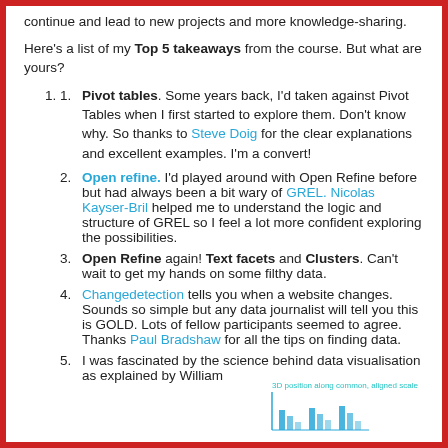continue and lead to new projects and more knowledge-sharing.
Here's a list of my Top 5 takeaways from the course. But what are yours?
Pivot tables. Some years back, I'd taken against Pivot Tables when I first started to explore them. Don't know why. So thanks to Steve Doig for the clear explanations and excellent examples. I'm a convert!
Open refine. I'd played around with Open Refine before but had always been a bit wary of GREL. Nicolas Kayser-Bril helped me to understand the logic and structure of GREL so I feel a lot more confident exploring the possibilities.
Open Refine again! Text facets and Clusters. Can't wait to get my hands on some filthy data.
Changedetection tells you when a website changes. Sounds so simple but any data journalist will tell you this is GOLD.  Lots of fellow participants seemed to agree. Thanks Paul Bradshaw for all the tips on finding data.
I was fascinated by the science behind data visualisation as explained by William
[Figure (other): Small decorative bar chart illustration at bottom right of page, with label '3D position along common, aligned scale' in teal/cyan text]